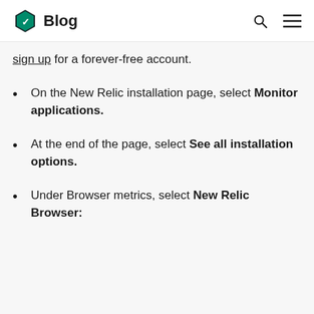Blog
sign up for a forever-free account.
On the New Relic installation page, select Monitor applications.
At the end of the page, select See all installation options.
Under Browser metrics, select New Relic Browser: